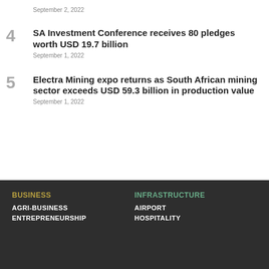September 2, 2022
4  SA Investment Conference receives 80 pledges worth USD 19.7 billion
September 1, 2022
5  Electra Mining expo returns as South African mining sector exceeds USD 59.3 billion in production value
September 1, 2022
BUSINESS
AGRI-BUSINESS
ENTREPRENEURSHIP
INFRASTRUCTURE
AIRPORT
HOSPITALITY